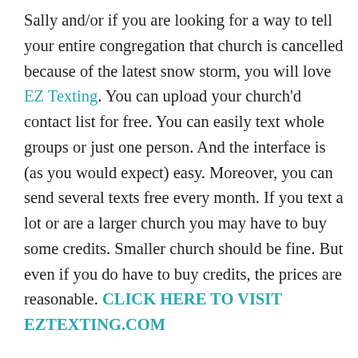Sally and/or if you are looking for a way to tell your entire congregation that church is cancelled because of the latest snow storm, you will love EZ Texting. You can upload your church'd contact list for free. You can easily text whole groups or just one person. And the interface is (as you would expect) easy. Moreover, you can send several texts free every month. If you text a lot or are a larger church you may have to buy some credits. Smaller church should be fine. But even if you do have to buy credits, the prices are reasonable. CLICK HERE TO VISIT EZTEXTING.COM